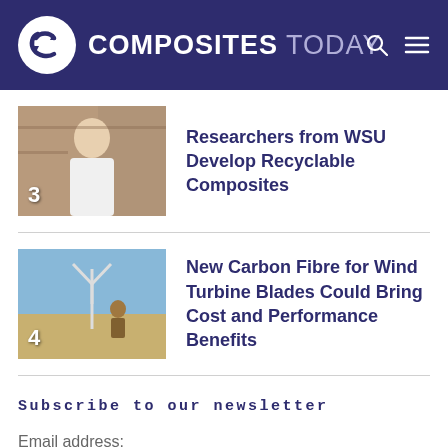COMPOSITES TODAY
Researchers from WSU Develop Recyclable Composites
New Carbon Fibre for Wind Turbine Blades Could Bring Cost and Performance Benefits
Subscribe to our newsletter
Email address:
Your email address